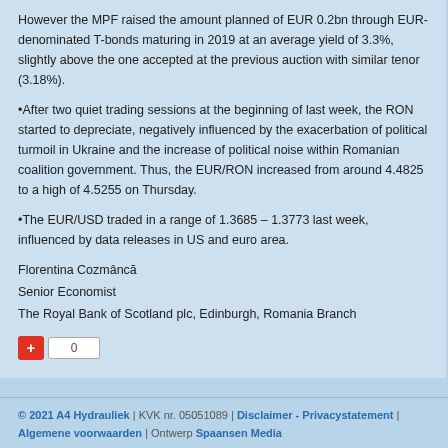However the MPF raised the amount planned of EUR 0.2bn through EUR-denominated T-bonds maturing in 2019 at an average yield of 3.3%, slightly above the one accepted at the previous auction with similar tenor (3.18%).
After two quiet trading sessions at the beginning of last week, the RON started to depreciate, negatively influenced by the exacerbation of political turmoil in Ukraine and the increase of political noise within Romanian coalition government. Thus, the EUR/RON increased from around 4.4825 to a high of 4.5255 on Thursday.
The EUR/USD traded in a range of 1.3685 – 1.3773 last week, influenced by data releases in US and euro area.
Florentina Cozmâncă
Senior Economist
The Royal Bank of Scotland plc, Edinburgh, Romania Branch
© 2021 A4 Hydrauliek | KVK nr. 05051089 | Disclaimer - Privacystatement | Algemene voorwaarden | Ontwerp Spaansen Media